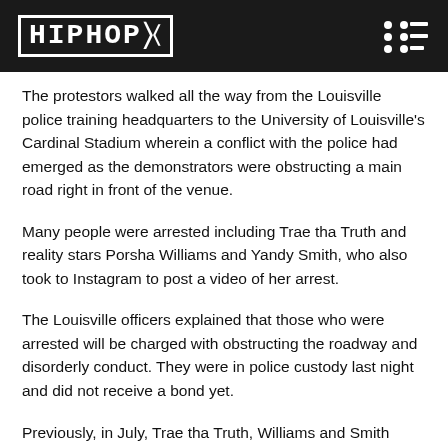HIPHOP3
The protestors walked all the way from the Louisville police training headquarters to the University of Louisville's Cardinal Stadium wherein a conflict with the police had emerged as the demonstrators were obstructing a main road right in front of the venue.
Many people were arrested including Trae tha Truth and reality stars Porsha Williams and Yandy Smith, who also took to Instagram to post a video of her arrest.
The Louisville officers explained that those who were arrested will be charged with obstructing the roadway and disorderly conduct. They were in police custody last night and did not receive a bond yet.
Previously, in July, Trae tha Truth, Williams and Smith were taken into police custody with YBN Cordae, Until Freedom co-founder Tamika Mallory and 87 others when they staged protests outside the home of Kentucky Attorney General Daniel Cameron. Each of the individuals was charged with intimidating a participant in a legal process, disorderly